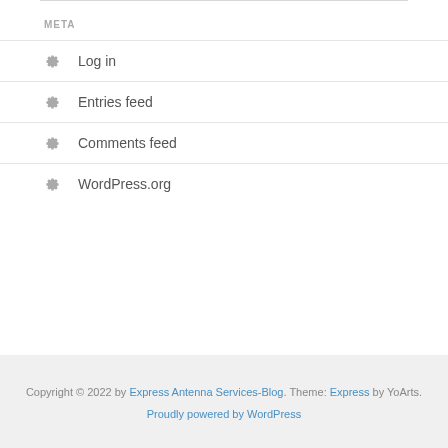META
Log in
Entries feed
Comments feed
WordPress.org
Copyright © 2022 by Express Antenna Services-Blog. Theme: Express by YoArts. Proudly powered by WordPress